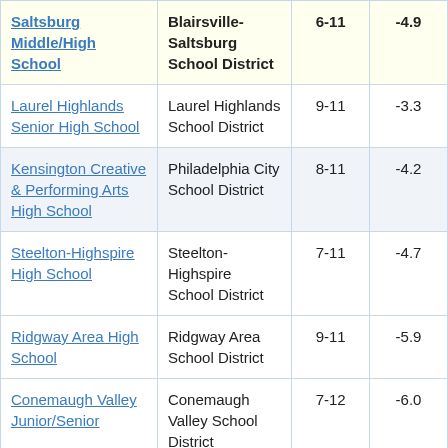| School | District | Grades | Score |  |
| --- | --- | --- | --- | --- |
| Saltsburg Middle/High School | Blairsville-Saltsburg School District | 6-11 | -4.9 | 3 |
| Laurel Highlands Senior High School | Laurel Highlands School District | 9-11 | -3.3 |  |
| Kensington Creative & Performing Arts High School | Philadelphia City School District | 8-11 | -4.2 |  |
| Steelton-Highspire High School | Steelton-Highspire School District | 7-11 | -4.7 |  |
| Ridgway Area High School | Ridgway Area School District | 9-11 | -5.9 |  |
| Conemaugh Valley Junior/Senior | Conemaugh Valley School District | 7-12 | -6.0 |  |